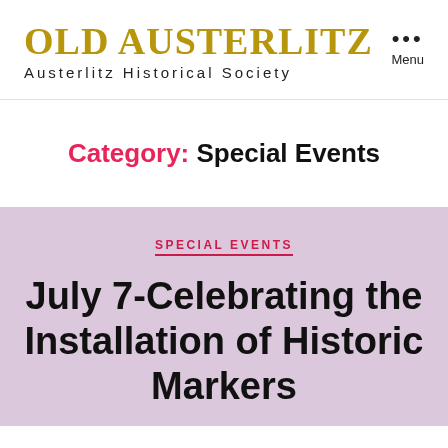OLD AUSTERLITZ
Austerlitz Historical Society
Category: Special Events
SPECIAL EVENTS
July 7-Celebrating the Installation of Historic Markers